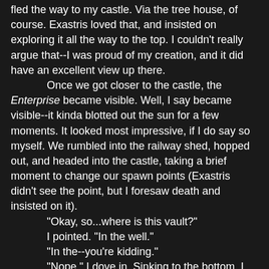fled the way to my castle. Via the tree house, of course. Exastris loved that, and insisted on exploring it all the way to the top. I couldn't really argue that--I was proud of my creation, and it did have an excellent view up there.

	Once we got closer to the castle, the Enterprise became visible. Well, I say became visible--it kinda blotted out the sun for a few moments. It looked most impressive, if I do say so myself. We rumbled into the railway shed, hopped out, and headed into the castle, taking a brief moment to change our spawn points (Exastris didn't see the point, but I foresaw death and insisted on it).
	"Okay, so...where is this vault?"
	I pointed. "In the well."
	"In the--you're kidding."
	"Nope." I dove in. Sinking to the bottom, I opened the door in the side of the well's wall and walked into the passage. Exastris followed me.
	"Okay, go to," I said generously. "Although, I don't exactly remember how I set this up, so--"
	Exastris brushed past me and headed down the hall--a little too fast. A delayed trapdoor hissed open underneath her at the intersection. She had just enough time to pause and look down before dropping into the hole. The hole